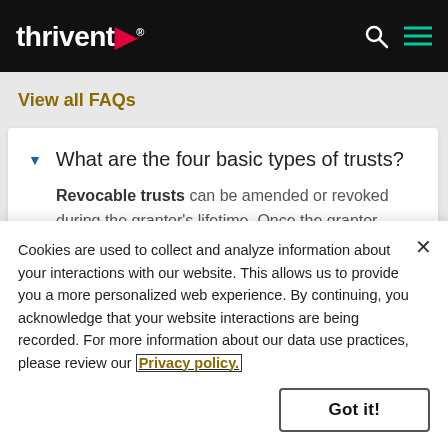thrivent® (logo)
View all FAQs
▼  What are the four basic types of trusts?
Revocable trusts can be amended or revoked during the grantor's lifetime. Once the grantor
Cookies are used to collect and analyze information about your interactions with our website. This allows us to provide you a more personalized web experience. By continuing, you acknowledge that your website interactions are being recorded. For more information about our data use practices, please review our Privacy policy.
Got it!